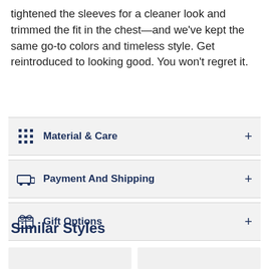tightened the sleeves for a cleaner look and trimmed the fit in the chest—and we've kept the same go-to colors and timeless style. Get reintroduced to looking good. You won't regret it.
Material & Care
Payment And Shipping
Gift Options
Similar Styles